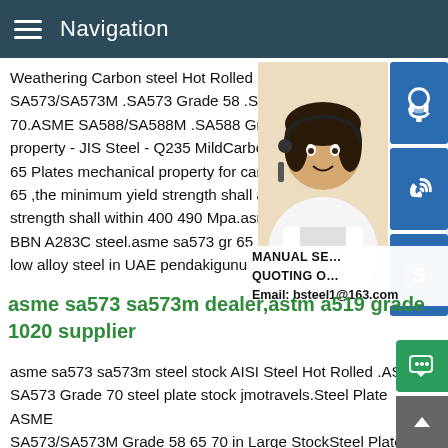Navigation
Weathering Carbon steel Hot Rolled Steel SA573/SA573M .SA573 Grade 58 .SA573 70.ASME SA588/SA588M .SA588 Grade . property - JIS Steel - Q235 MildCarbon St 65 Plates mechanical property for carbon 65 ,the minimum yield strength shall above strength shall within 400 490 Mpa.asme sa BBN A283C steel.asme sa573 gr 65 steel low alloy steel in UAE pendakigunung.Re…
[Figure (photo): Woman with headset (customer service representative) with blue icon buttons on right side for contact/phone/skype]
MANUAL SE… QUOTING O… Email: bsteel1@163.com
asme sa573 sa573m dealer,astm a519 grade 1020 supplier
asme sa573 sa573m steel stock AISI Steel Hot Rolled .ASME SA573 Grade 70 steel plate stock jmotravels.Steel Plate ASME SA573/SA573M Grade 58 65 70 in Large StockSteel Plate ASME SA573/SA573M Grade 58 65 70 in Large Stock chemical and